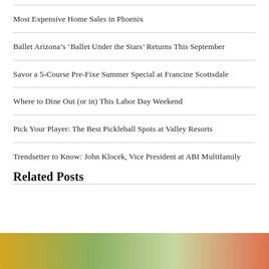Most Expensive Home Sales in Phoenix
Ballet Arizona's ‘Ballet Under the Stars’ Returns This September
Savor a 5-Course Pre-Fixe Summer Special at Francine Scottsdale
Where to Dine Out (or in) This Labor Day Weekend
Pick Your Player: The Best Pickleball Spots at Valley Resorts
Trendsetter to Know: John Klocek, Vice President at ABI Multifamily
Related Posts
[Figure (photo): Partial bottom strip showing a colorful food or nature photo, cropped]